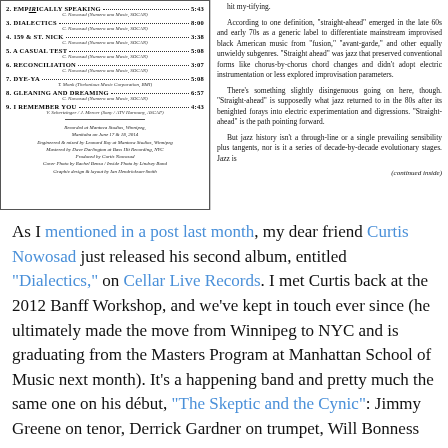[Figure (other): Album back cover showing track listing with titles, times, credits, and production notes for Curtis Nowosad 'Dialectics']
Review text excerpt about the album 'Dialectics' discussing 'straight-ahead' jazz definition and history
As I mentioned in a post last month, my dear friend Curtis Nowosad just released his second album, entitled "Dialectics," on Cellar Live Records. I met Curtis back at the 2012 Banff Workshop, and we've kept in touch ever since (he ultimately made the move from Winnipeg to NYC and is graduating from the Masters Program at Manhattan School of Music next month). It's a happening band and pretty much the same one on his début, "The Skeptic and the Cynic": Jimmy Greene on tenor, Derrick Gardner on trumpet, Will Bonness